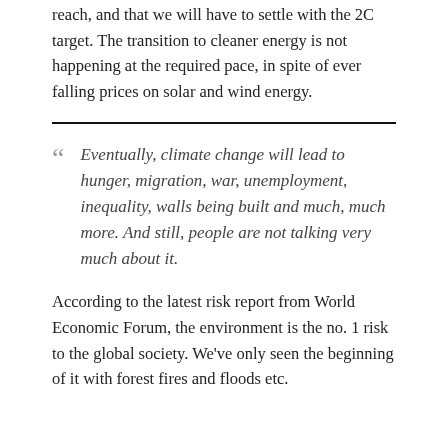reach, and that we will have to settle with the 2C target. The transition to cleaner energy is not happening at the required pace, in spite of ever falling prices on solar and wind energy.
Eventually, climate change will lead to hunger, migration, war, unemployment, inequality, walls being built and much, much more. And still, people are not talking very much about it.
According to the latest risk report from World Economic Forum, the environment is the no. 1 risk to the global society. We've only seen the beginning of it with forest fires and floods etc.